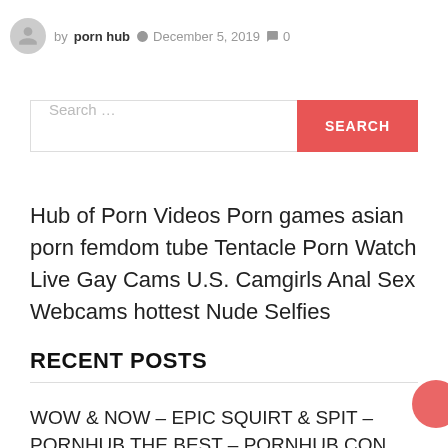by porn hub  December 5, 2019  0
Search ...
Hub of Porn Videos Porn games asian porn femdom tube Tentacle Porn Watch Live Gay Cams U.S. Camgirls Anal Sex Webcams hottest Nude Selfies
RECENT POSTS
WOW & NOW – EPIC SQUIRT & SPIT – PORNHUB THE BEST – PORNHUB CON COM POPHUB PORNHUB PORN